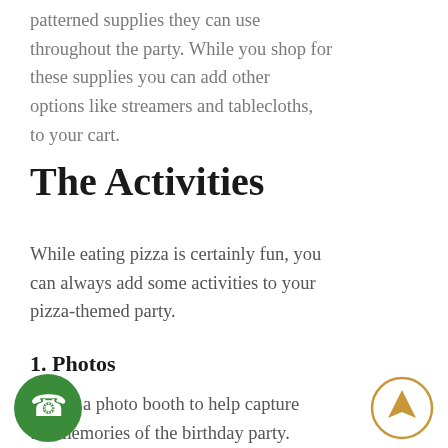patterned supplies they can use throughout the party. While you shop for these supplies you can add other options like streamers and tablecloths, to your cart.
The Activities
While eating pizza is certainly fun, you can always add some activities to your pizza-themed party.
1. Photos
Create a photo booth to help capture the memories of the birthday party. Setting up a photo booth can be as simple as pinning up a backdrop and